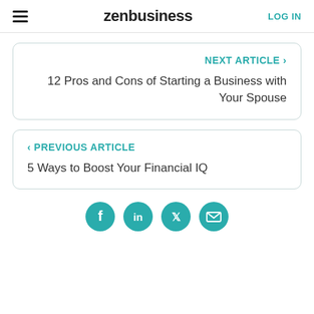zenbusiness | LOG IN
NEXT ARTICLE ›
12 Pros and Cons of Starting a Business with Your Spouse
‹ PREVIOUS ARTICLE
5 Ways to Boost Your Financial IQ
[Figure (infographic): Four teal circular social media share icons: Facebook, LinkedIn, Twitter, and Email/envelope]